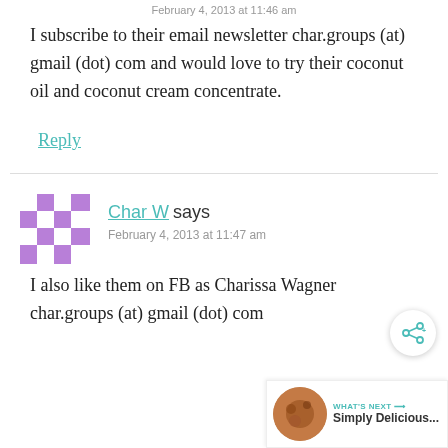February 4, 2013 at 11:46 am
I subscribe to their email newsletter char.groups (at) gmail (dot) com and would love to try their coconut oil and coconut cream concentrate.
Reply
Char W says
February 4, 2013 at 11:47 am
I also like them on FB as Charissa Wagner
char.groups (at) gmail (dot) com